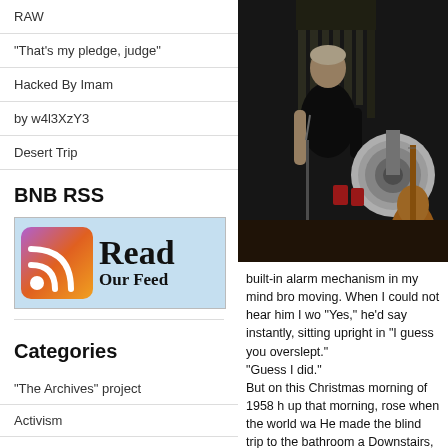RAW
“That’s my pledge, judge”
Hacked By Imam
by w4l3XzY3
Desert Trip
BNB RSS
[Figure (other): Read Our Feed RSS banner with RSS icon on left and text on right]
Categories
"The Archives" project
Activism
Admina
Album Info
Album Reviews
Awards
[Figure (photo): Black and white photo of a person on stage with musical equipment including a horn/loudspeaker and guitar]
built-in alarm mechanism in my mind bro moving. When I could not hear him I wo “Yes,” he’d say instantly, sitting upright in “I guess you overslept.” “Guess I did.” But on this Christmas morning of 1958 h up that morning, rose when the world wa He made the blind trip to the bathroom a Downstairs, he stood for a moment and slow march past it, stopped to shake a p went on. A glass of milk and a brief forage in the n scarf and parka and overshoes and mitts pedal into the morning alone.